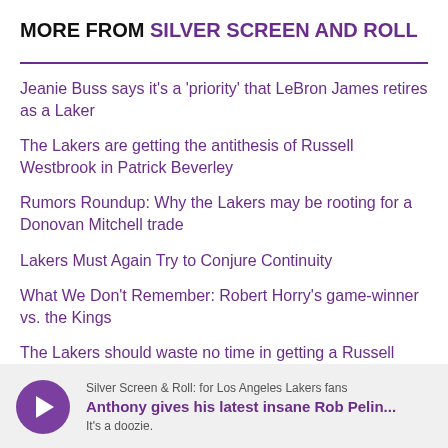MORE FROM SILVER SCREEN AND ROLL
Jeanie Buss says it's a 'priority' that LeBron James retires as a Laker
The Lakers are getting the antithesis of Russell Westbrook in Patrick Beverley
Rumors Roundup: Why the Lakers may be rooting for a Donovan Mitchell trade
Lakers Must Again Try to Conjure Continuity
What We Don't Remember: Robert Horry's game-winner vs. the Kings
The Lakers should waste no time in getting a Russell Westbrook trade deal done now
Silver Screen & Roll: for Los Angeles Lakers fans
Anthony gives his latest insane Rob Pelin...
It's a doozie.